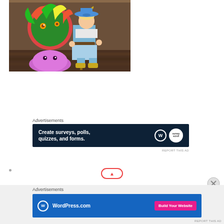[Figure (screenshot): Video game screenshot showing a character in a light blue outfit holding a staff, next to a colorful pinata-like creature and a purple slime character, in an indoor scene]
Advertisements
[Figure (screenshot): Advertisement banner: dark navy background with text 'Create surveys, polls, quizzes, and forms.' with WordPress and Survey Sparrow logos]
REPORT THIS AD
Advertisements
[Figure (screenshot): Advertisement banner: blue background with WordPress.com logo and 'Build Your Website' pink button]
REPORT THIS AD